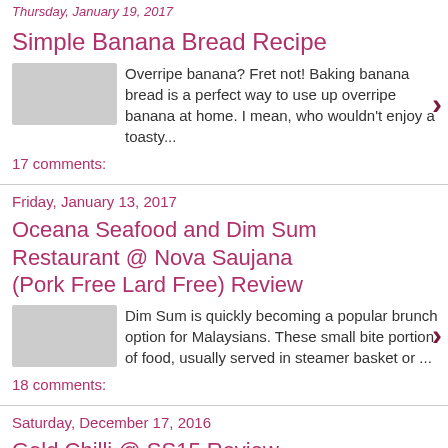Thursday, January 19, 2017
Simple Banana Bread Recipe
Overripe banana? Fret not! Baking banana bread is a perfect way to use up overripe banana at home. I mean, who wouldn't enjoy a toasty...
17 comments:
Friday, January 13, 2017
Oceana Seafood and Dim Sum Restaurant @ Nova Saujana (Pork Free Lard Free) Review
Dim Sum is quickly becoming a popular brunch option for Malaysians. These small bite portion of food, usually served in steamer basket or ...
18 comments:
Saturday, December 17, 2016
Gold Chilli @ SS15 Review
(Halal)
If you Google 'good food SS15', chances are you came across this restaurant at one point. In fact...